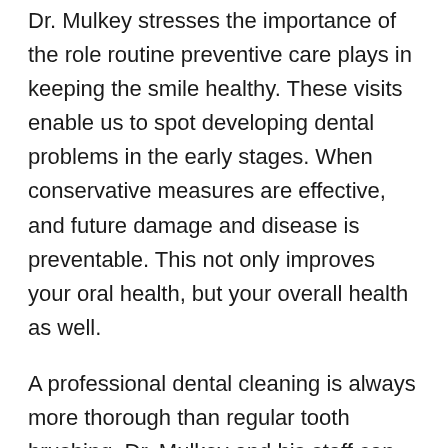Dr. Mulkey stresses the importance of the role routine preventive care plays in keeping the smile healthy. These visits enable us to spot developing dental problems in the early stages. When conservative measures are effective, and future damage and disease is preventable. This not only improves your oral health, but your overall health as well.
A professional dental cleaning is always more thorough than regular tooth brushing. Dr. Mulkey and his staff can offer personalized recommendations for at-home care to maintain optimal oral health between visits.
Modern dentistry focuses on helping patients keep their natural teeth for as long as possible. Patients